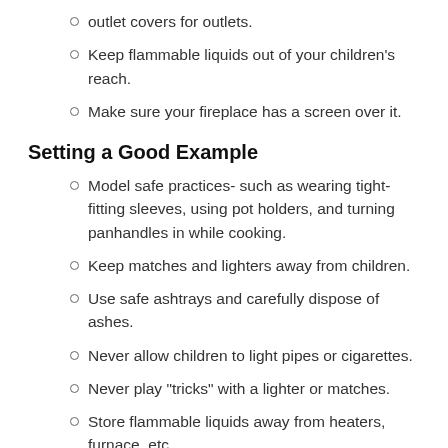outlet covers for outlets.
Keep flammable liquids out of your children's reach.
Make sure your fireplace has a screen over it.
Setting a Good Example
Model safe practices- such as wearing tight-fitting sleeves, using pot holders, and turning panhandles in while cooking.
Keep matches and lighters away from children.
Use safe ashtrays and carefully dispose of ashes.
Never allow children to light pipes or cigarettes.
Never play "tricks" with a lighter or matches.
Store flammable liquids away from heaters, furnace, etc.
Make sure your wood stove is installed properly.
Make sure your relatives or guests adopt your rules while in your home.